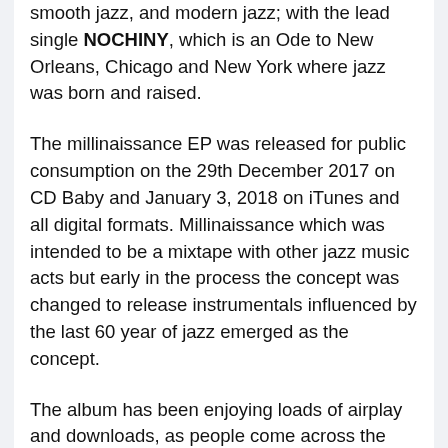This EP, which is a inner journey through bebop, smooth jazz, and modern jazz; with the lead single NOCHINY, which is an Ode to New Orleans, Chicago and New York where jazz was born and raised.
The millinaissance EP was released for public consumption on the 29th December 2017 on CD Baby and January 3, 2018 on iTunes and all digital formats. Millinaissance which was intended to be a mixtape with other jazz music acts but early in the process the concept was changed to release instrumentals influenced by the last 60 year of jazz emerged as the concept.
The album has been enjoying loads of airplay and downloads, as people come across the songs and fall in love at first hearing.
Jazzgroupiez has expressed appreciation towards the acceptance of their first major work since the